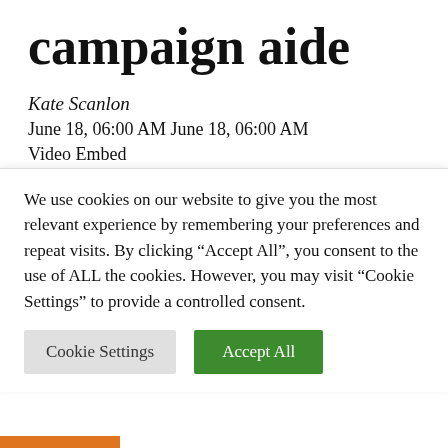campaign aide
Kate Scanlon
June 18, 06:00 AM June 18, 06:00 AM
Video Embed
A top aide to Sen. Bernie Sanders (I) mentioned a vital technique change could have enabled Sen. Elizabeth Warren (D) to knock the Vermont senator out of rivalry in
We use cookies on our website to give you the most relevant experience by remembering your preferences and repeat visits. By clicking “Accept All”, you consent to the use of ALL the cookies. However, you may visit “Cookie Settings” to provide a controlled consent.